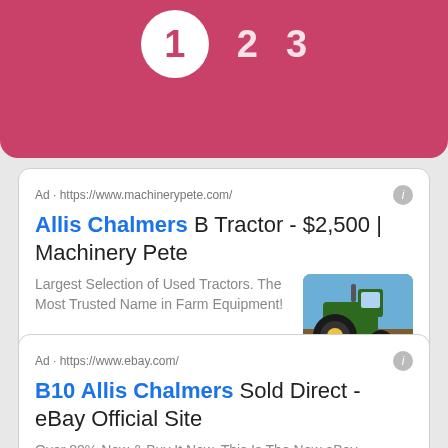[Figure (infographic): Pink/red rounded banner at top showing three step numbers: a white circle with '1' in pink, and lighter '2' and '3' in white text]
Ad · https://www.machinerypete.com/
Allis Chalmers B Tractor - $2,500 | Machinery Pete
Largest Selection of Used Tractors. The Most Trusted Name in Farm Equipment!
[Figure (photo): Photo of a large green and yellow John Deere tractor on a dirt field with blue sky background]
Ad · https://www.ebay.com/
B10 Allis Chalmers Sold Direct - eBay Official Site
Over 80%  New & Buy It Now. This Is The New eBay...